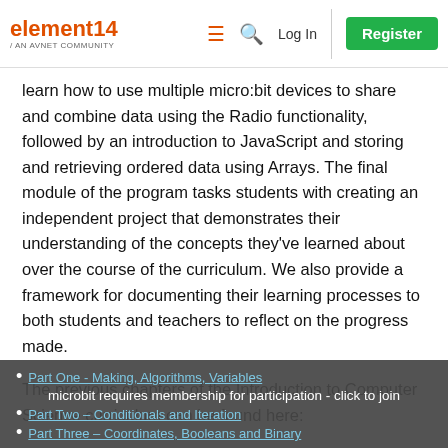element14 / AN AVNET COMMUNITY  [menu icon] [search icon]  Log In  Register
learn how to use multiple micro:bit devices to share and combine data using the Radio functionality, followed by an introduction to JavaScript and storing and retrieving ordered data using Arrays. The final module of the program tasks students with creating an independent project that demonstrates their understanding of the concepts they've learned about over the course of the curriculum. We also provide a framework for documenting their learning processes to both students and teachers to reflect on the progress made.
The previous chapters of the Introduction to Computer Science curriculum can be found here:
Part One - Making, Algorithms, Variables
Part Two – Conditionals and Iteration
Part Three – Coordinates, Booleans and Binary
microbit requires membership for participation - click to join